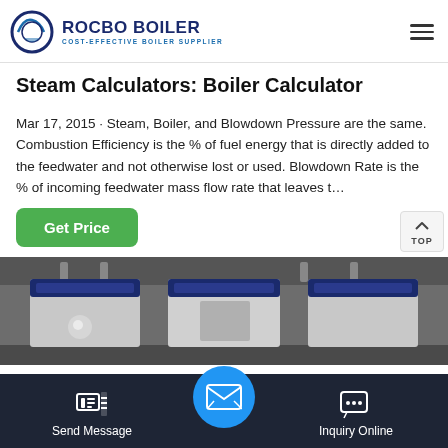[Figure (logo): Rocbo Boiler logo with circular arc icon and text 'ROCBO BOILER - COST-EFFECTIVE BOILER SUPPLIER']
Steam Calculators: Boiler Calculator
Mar 17, 2015 · Steam, Boiler, and Blowdown Pressure are the same. Combustion Efficiency is the % of fuel energy that is directly added to the feedwater and not otherwise lost or used. Blowdown Rate is the % of incoming feedwater mass flow rate that leaves t…
[Figure (photo): Industrial boiler equipment photograph in grayscale showing boiler machinery with blue accent panels]
[Figure (screenshot): Bottom navigation bar with Send Message, email icon circle, and Inquiry Online buttons on dark background]